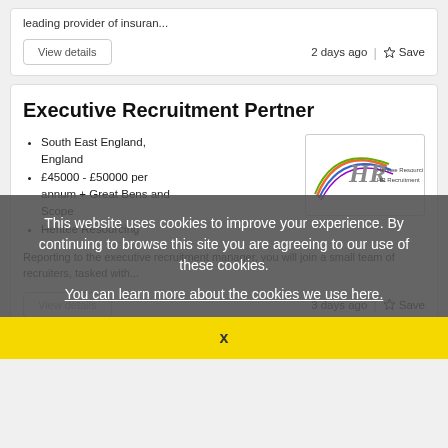leading provider of insuran...
2 days ago
Save
Executive Recruitment Pertner
South East England, England
£45000 - £50000 per annum + Great Bens and Scope
Heritee Resourcing
Reporting to the executive recruitment manager, you will join a small team of recruiters, tasked with...
3 days ago
Save
This website uses cookies to improve your experience. By continuing to browse this site you are agreeing to our use of these cookies.
You can learn more about the cookies we use here.
x